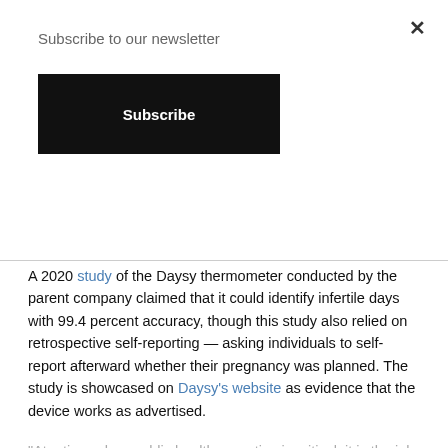Subscribe to our newsletter
Subscribe
A 2020 study of the Daysy thermometer conducted by the parent company claimed that it could identify infertile days with 99.4 percent accuracy, though this study also relied on retrospective self-reporting — asking individuals to self-report afterward whether their pregnancy was planned. The study is showcased on Daysy's website as evidence that the device works as advertised.
"At a time when public health expertise is critical, it is the job of scientists to speak out on their areas of expertise," Polis said "When we are hit with lawsuits for doing so, it risks creating a